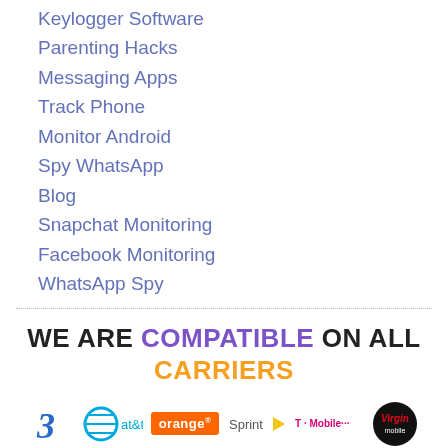Keylogger Software
Parenting Hacks
Messaging Apps
Track Phone
Monitor Android
Spy WhatsApp
Blog
Snapchat Monitoring
Facebook Monitoring
WhatsApp Spy
WE ARE COMPATIBLE ON ALL CARRIERS
[Figure (logo): Carrier logos: Three, AT&T, Orange, Sprint, T-Mobile, Virgin Mobile]